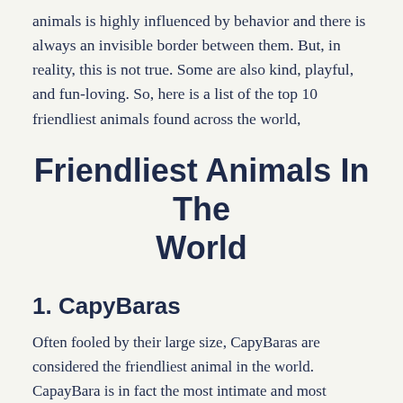animals is highly influenced by behavior and there is always an invisible border between them. But, in reality, this is not true. Some are also kind, playful, and fun-loving. So, here is a list of the top 10 friendliest animals found across the world,
Friendliest Animals In The World
1. CapyBaras
Often fooled by their large size, CapyBaras are considered the friendliest animal in the world. CapayBara is in fact the most intimate and most affectionate animal in the world one can ever know. CapyBaras are generally native to